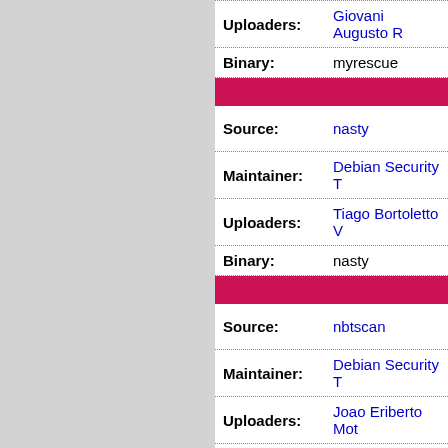| Field | Value |
| --- | --- |
| Uploaders: | Giovani Augusto R... |
| Binary: | myrescue |
| Source: | nasty |
| Maintainer: | Debian Security T... |
| Uploaders: | Tiago Bortoletto V... |
| Binary: | nasty |
| Source: | nbtscan |
| Maintainer: | Debian Security T... |
| Uploaders: | Joao Eriberto Mot... |
| Binary: | nbtscan |
| Source: | ncrack |